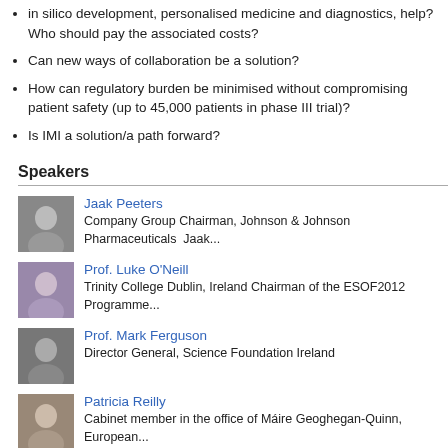in silico development, personalised medicine and diagnostics, help? Who should pay the associated costs?
Can new ways of collaboration be a solution?
How can regulatory burden be minimised without compromising patient safety (up to 45,000 patients in phase III trial)?
Is IMI a solution/a path forward?
Speakers
Jaak Peeters
Company Group Chairman, Johnson & Johnson Pharmaceuticals  Jaak...
Prof. Luke O'Neill
Trinity College Dublin, Ireland Chairman of the ESOF2012 Programme...
Prof. Mark Ferguson
Director General, Science Foundation Ireland
Patricia Reilly
Cabinet member in the office of Máire Geoghegan-Quinn, European...